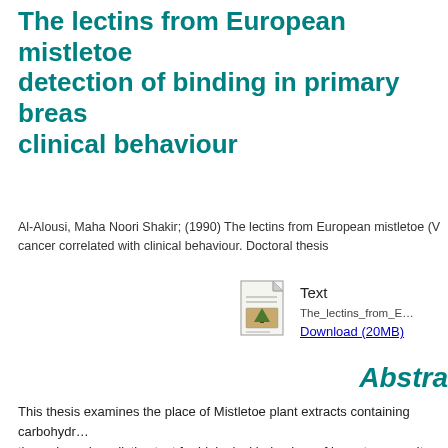The lectins from European mistletoe detection of binding in primary breast clinical behaviour
Al-Alousi, Maha Noori Shakir; (1990) The lectins from European mistletoe (V... cancer correlated with clinical behaviour. Doctoral thesis ...
[Figure (other): Document icon representing a downloadable text file with thumbnail image]
Text
The_lectins_from_E...
Download (20MB)
Abstract
This thesis examines the place of Mistletoe plant extracts containing carbohydrate-binding proteins (lectins) as a tissue-based predictive test for biological behaviour of breast cancer. It begins with a review of Mistletoe including mythology, history, use as an anti-cancer drug and the isolation and identification of its lectins. The clinical problems of management and the value of prognostic factors. A review of lectin histochemistry. The work comprises: - Isolation and identification of 3 mistletoe lectins by gel, ion-exchange chromatography. Mol.wt. determined by polyacrylamide gel electrophoresis while major carbohydrate specificities by sugar inhibition. Part of this work was carried out in East Berlin/GDR. - Raising rabbit polyclonal antibodies against the 3 lectins by gel diffusion, enzyme linked immunosorbent assay (ELISA), dot- and Western type blotting. - Staining frozen sections of 234 primary breast cancers, by a histochemical method. - Correlatio...